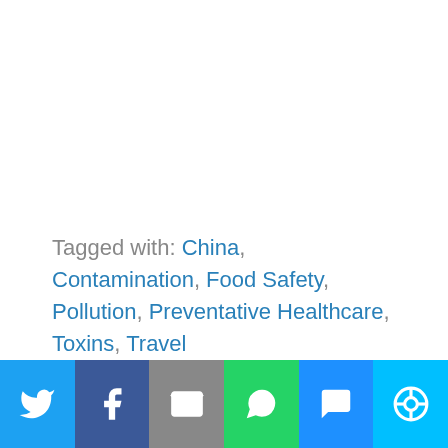Tagged with: China, Contamination, Food Safety, Pollution, Preventative Healthcare, Toxins, Travel
[Figure (infographic): Social sharing bar with icons for Twitter, Facebook, Email, WhatsApp, SMS, and a share/other button]